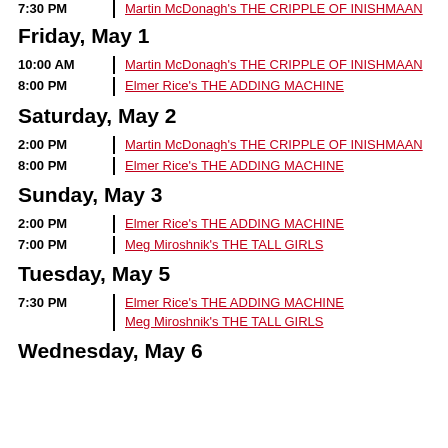7:30 PM | Martin McDonagh's THE CRIPPLE OF INISHMAAN
Friday, May 1
10:00 AM | Martin McDonagh's THE CRIPPLE OF INISHMAAN
8:00 PM | Elmer Rice's THE ADDING MACHINE
Saturday, May 2
2:00 PM | Martin McDonagh's THE CRIPPLE OF INISHMAAN
8:00 PM | Elmer Rice's THE ADDING MACHINE
Sunday, May 3
2:00 PM | Elmer Rice's THE ADDING MACHINE
7:00 PM | Meg Miroshnik's THE TALL GIRLS
Tuesday, May 5
7:30 PM | Elmer Rice's THE ADDING MACHINE
Meg Miroshnik's THE TALL GIRLS
Wednesday, May 6